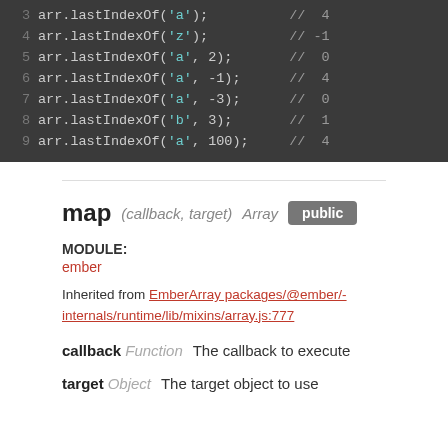[Figure (screenshot): Code block showing JavaScript array lastIndexOf calls with line numbers 3-9 on dark background]
map (callback, target) Array public
MODULE:
ember
Inherited from EmberArray packages/@ember/-internals/runtime/lib/mixins/array.js:777
callback Function  The callback to execute
target Object  The target object to use